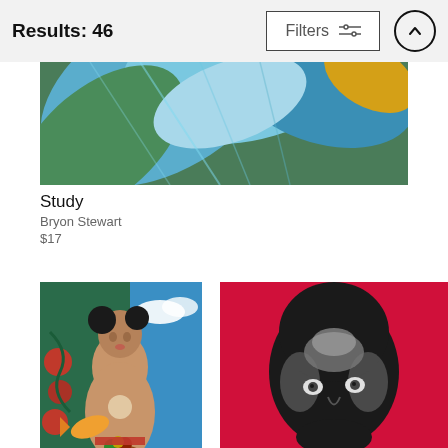Results: 46
[Figure (photo): Close-up painting or photograph of large tropical leaves in shades of blue, green, and yellow-gold, arranged in overlapping fan pattern]
Study
Bryon Stewart
$17
[Figure (photo): Colorful figurative painting of a stylized Black woman holding a golden fish and a bowl of fruit, with flowers and blue sky in the background]
[Figure (photo): Painting of a stylized Black face with glossy black and grey paint markings on a bright red background]